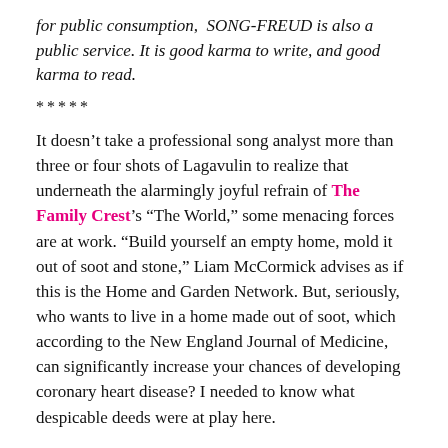for public consumption,  SONG-FREUD is also a public service. It is good karma to write, and good karma to read.
*****
It doesn’t take a professional song analyst more than three or four shots of Lagavulin to realize that underneath the alarmingly joyful refrain of The Family Crest’s “The World,” some menacing forces are at work. “Build yourself an empty home, mold it out of soot and stone,” Liam McCormick advises as if this is the Home and Garden Network. But, seriously, who wants to live in a home made out of soot, which according to the New England Journal of Medicine, can significantly increase your chances of developing coronary heart disease? I needed to know what despicable deeds were at play here.